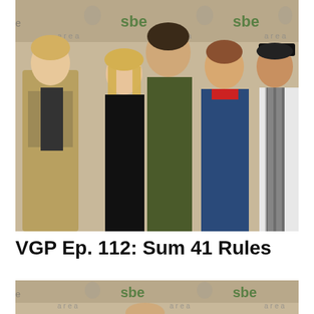[Figure (photo): Group photo of five people posing in front of a step-and-repeat backdrop with 'sbe' and 'area' logos. From left: young man with blonde hair wearing khaki vest over black shirt; young blonde woman in black outfit making a hand gesture; tall man in center wearing dark shirt; young man in blue denim jacket with patterned belt; young man on right in black cap and striped shirt.]
VGP Ep. 112: Sum 41 Rules
[Figure (photo): Partial photo — same 'sbe' and 'area' step-and-repeat backdrop visible at the top, with the top of a person's head and shoulders just visible at the bottom of the frame.]